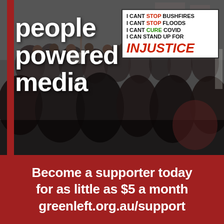[Figure (photo): Crowd of protesters at a rally, many holding signs. One visible sign reads: 'I CANT STOP BUSHFIRES / I CANT STOP FLOODS / I CANT CURE COVID / I CAN STAND UP FOR INJUSTICE'. A red vertical bar is visible on the left edge of the image.]
people powered media
Become a supporter today for as little as $5 a month greenleft.org.au/support